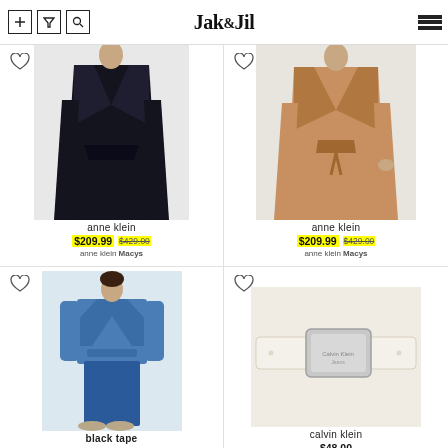Jak & Jil
[Figure (photo): Black wrap coat product photo on model]
anne klein
$209.99 $429.00
anne klein Macys
[Figure (photo): Camel wrap coat product photo on model]
anne klein
$209.99 $429.00
anne klein Macys
[Figure (photo): Blue denim jacket with matching pants product photo on model]
black tape
$79.00
[Figure (photo): White Calvin Klein belt product photo]
calvin klein
$48.00